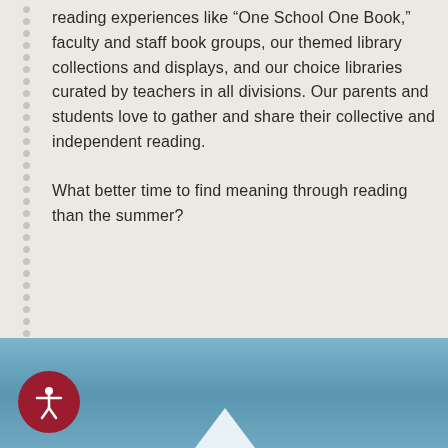reading experiences like “One School One Book,” faculty and staff book groups, our themed library collections and displays, and our choice libraries curated by teachers in all divisions. Our parents and students love to gather and share their collective and independent reading.
What better time to find meaning through reading than the summer?
[Figure (photo): A photo showing a blurred water/sky background in blue-grey tones, with a red accessibility icon button in the lower left and a partial white play button triangle at the bottom center.]